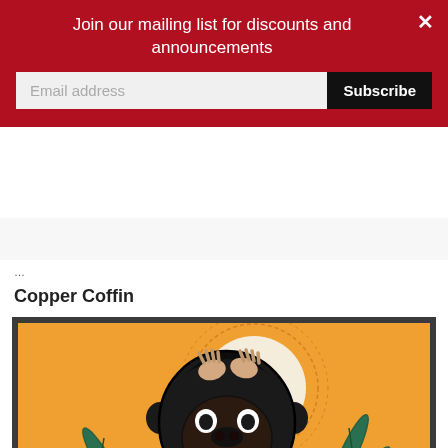Join our mailing list for discounts and announcements
Email address
Subscribe
…
Copper Coffin
[Figure (illustration): Traditional tattoo-style illustration of a gorilla-faced figure with a woman's body, hands raised to head, open roaring mouth showing red interior and fangs, white eyes, black fur, against an orange background with a white circular moon and green palm fronds on both sides. Artwork has bold black outlines in classic American traditional tattoo style.]